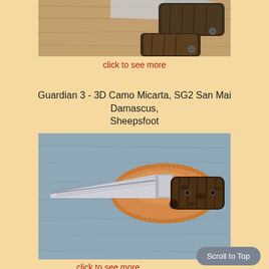[Figure (photo): Two knives with dark patterned handles on a wooden surface, viewed from above — partial crop showing handles and blades]
click to see more
Guardian 3 - 3D Camo Micarta, SG2 San Mai Damascus, Sheepsfoot
[Figure (photo): A knife with damascus steel sheepsfoot blade and dark camo Micarta handle, lying beside a tan leather sheath on a blue-gray surface]
click to see more